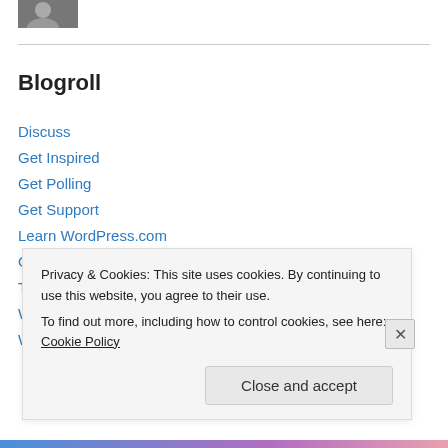[Figure (photo): Partial photo/avatar image cropped at top left]
Blogroll
Discuss
Get Inspired
Get Polling
Get Support
Learn WordPress.com
One Ringing Bell
Theme Showcase
WordPress Planet
WordPress.com News
Privacy & Cookies: This site uses cookies. By continuing to use this website, you agree to their use.
To find out more, including how to control cookies, see here: Cookie Policy